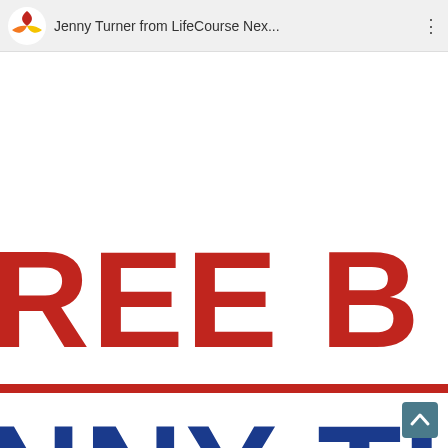Jenny Turner from LifeCourse Nex...
[Figure (screenshot): A screenshot of a social media or app post by Jenny Turner from LifeCourse Nexus. The visible content shows large bold red letters 'REE B' and below a red horizontal rule, large bold blue letters 'NNY TU', partially cropped. A scroll-to-top button appears at bottom right.]